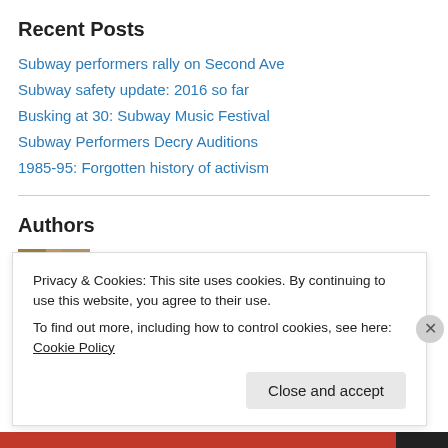Recent Posts
Subway performers rally on Second Ave
Subway safety update: 2016 so far
Busking at 30: Subway Music Festival
Subway Performers Decry Auditions
1985-95: Forgotten history of activism
Authors
[Figure (photo): Author photo of Matthew Christian]
Matthew Christian
Privacy & Cookies: This site uses cookies. By continuing to use this website, you agree to their use. To find out more, including how to control cookies, see here: Cookie Policy
Close and accept